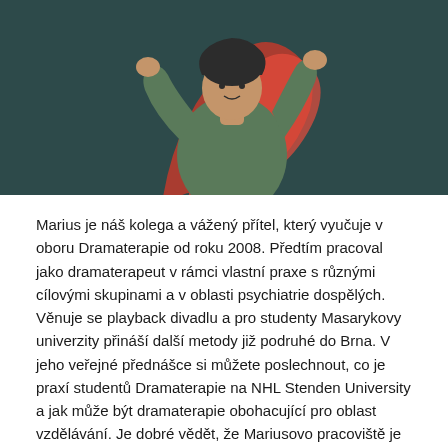[Figure (illustration): Illustrated figure of a person in a green long-sleeve top against a dark teal background, with a red curved shape behind them, appearing to be in a dramatic pose with arms raised]
Marius je náš kolega a vážený přítel, který vyučuje v oboru Dramaterapie od roku 2008. Předtím pracoval jako dramaterapeut v rámci vlastní praxe s různými cílovými skupinami a v oblasti psychiatrie dospělých. Věnuje se playback divadlu a pro studenty Masarykovy univerzity přináší další metody již podruhé do Brna. V jeho veřejné přednášce si můžete poslechnout, co je praxí studentů Dramaterapie na NHL Stenden University a jak může být dramaterapie obohacující pro oblast vzdělávání. Je dobré vědět, že Mariusovo pracoviště je naší partnerskou univerzitou pro Erasmus program.
Přednáška se bude konat ve středu 8. prosince 10:00 – 11:50, bude vedena v angličtině